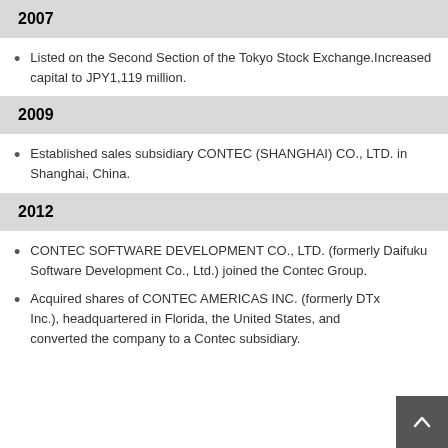2007
Listed on the Second Section of the Tokyo Stock Exchange.Increased capital to JPY1,119 million.
2009
Established sales subsidiary CONTEC (SHANGHAI) CO., LTD. in Shanghai, China.
2012
CONTEC SOFTWARE DEVELOPMENT CO., LTD. (formerly Daifuku Software Development Co., Ltd.) joined the Contec Group.
Acquired shares of CONTEC AMERICAS INC. (formerly DTx Inc.), headquartered in Florida, the United States, and converted the company to a Contec subsidiary.